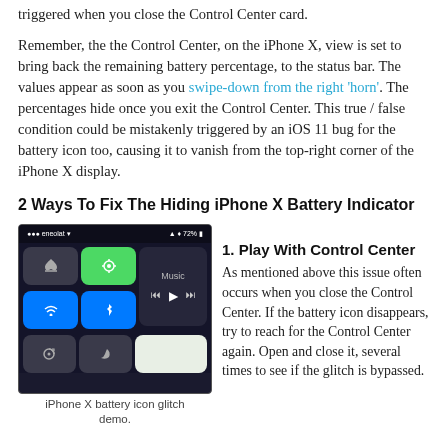triggered when you close the Control Center card.
Remember, the the Control Center, on the iPhone X, view is set to bring back the remaining battery percentage, to the status bar. The values appear as soon as you swipe-down from the right 'horn'. The percentages hide once you exit the Control Center. This true / false condition could be mistakenly triggered by an iOS 11 bug for the battery icon too, causing it to vanish from the top-right corner of the iPhone X display.
2 Ways To Fix The Hiding iPhone X Battery Indicator
[Figure (photo): Screenshot of iPhone X Control Center showing airplane mode, cellular data, wifi, bluetooth, and music controls with battery showing 72%]
iPhone X battery icon glitch demo.
1. Play With Control Center
As mentioned above this issue often occurs when you close the Control Center. If the battery icon disappears, try to reach for the Control Center again. Open and close it, several times to see if the glitch is bypassed.